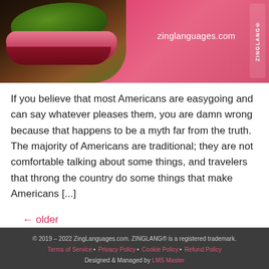[Figure (photo): Website header image showing a burger/sandwich with green lettuce and pink/red background. The zinglanguages.com URL is displayed on the right side. A vertical 'ZINGLANG®' text appears on the far right.]
If you believe that most Americans are easygoing and can say whatever pleases them, you are damn wrong because that happens to be a myth far from the truth. The majority of Americans are traditional; they are not comfortable talking about some things, and travelers that throng the country do some things that make Americans [...]
← older
© 2019 – 2022 ZingLanguages.com. ZINGLANG® is a registered trademark.
Terms of Service • Privacy Policy • Cookie Policy • Refund Policy
Designed & Managed by LMS Master